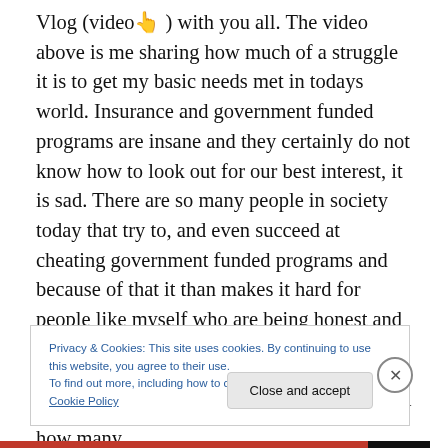Vlog (video👆) with you all. The video above is me sharing how much of a struggle it is to get my basic needs met in todays world. Insurance and government funded programs are insane and they certainly do not know how to look out for our best interest, it is sad. There are so many people in society today that try to, and even succeed at cheating government funded programs and because of that it than makes it hard for people like myself who are being honest and who do still want to be treated as a average person in society but yet we get penalized for trying to do the right things. You do not know how many
Privacy & Cookies: This site uses cookies. By continuing to use this website, you agree to their use.
To find out more, including how to control cookies, see here: Cookie Policy
Close and accept